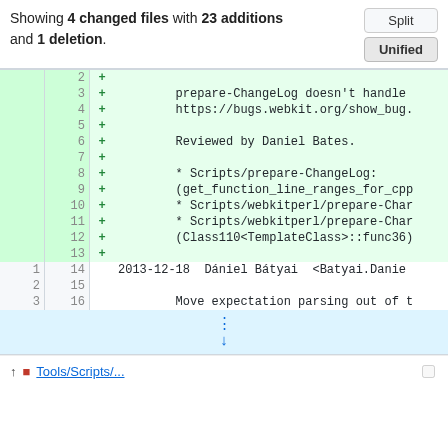Showing 4 changed files with 23 additions and 1 deletion.
| old | new | mark | code |
| --- | --- | --- | --- |
|  | 2 | + |  |
|  | 3 | + |         prepare-ChangeLog doesn't handle |
|  | 4 | + |         https://bugs.webkit.org/show_bug. |
|  | 5 | + |  |
|  | 6 | + |         Reviewed by Daniel Bates. |
|  | 7 | + |  |
|  | 8 | + |         * Scripts/prepare-ChangeLog: |
|  | 9 | + |         (get_function_line_ranges_for_cpp |
|  | 10 | + |         * Scripts/webkitperl/prepare-Char |
|  | 11 | + |         * Scripts/webkitperl/prepare-Char |
|  | 12 | + |         (Class110<TemplateClass>::func36) |
|  | 13 | + |  |
| 1 | 14 |  | 2013-12-18  Dániel Bátyai  <Batyai.Danie |
| 2 | 15 |  |  |
| 3 | 16 |  |         Move expectation parsing out of t |
[Figure (other): Expand rows button (dotted arrow down icon) in blue highlighted row]